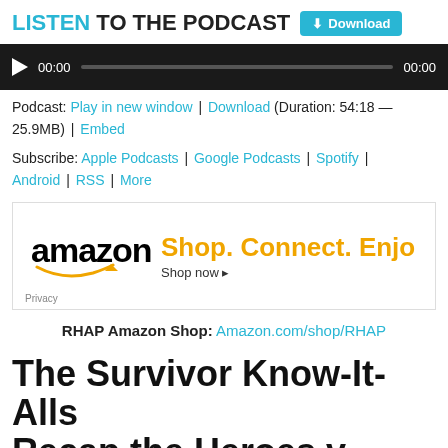LISTEN TO THE PODCAST  Download
[Figure (other): Audio player with play button, time 00:00, progress bar, and end time 00:00 on dark background]
Podcast: Play in new window | Download (Duration: 54:18 — 25.9MB) | Embed
Subscribe: Apple Podcasts | Google Podcasts | Spotify | Android | RSS | More
[Figure (other): Amazon advertisement: amazon logo with smile, Shop. Connect. Enjoy. Shop now arrow]
RHAP Amazon Shop: Amazon.com/shop/RHAP
The Survivor Know-It-Alls Recap the Heroes v